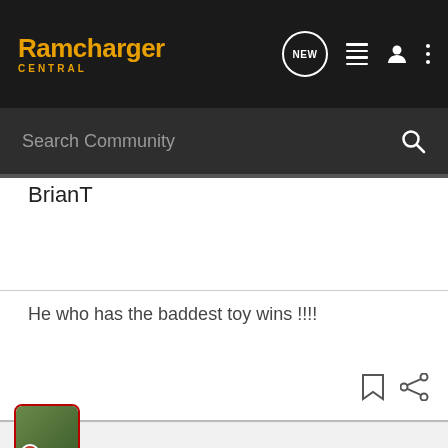Ramcharger Central
Search Community
BrianT
He who has the baddest toy wins !!!!
OBXCHARGER · Premium Member
Joined Nov 7, 2001 · 3,665 Posts
#6 · Aug 9, 2003
finally a pic of the "JAMMER" too cool 😀 great job on the